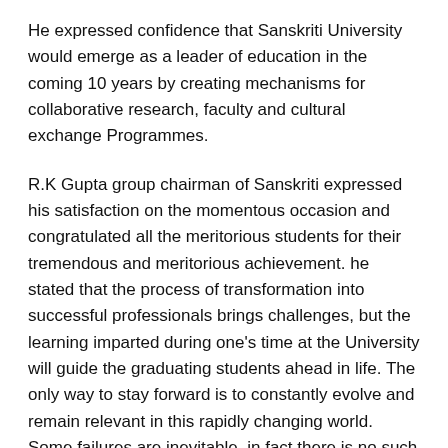He expressed confidence that Sanskriti University would emerge as a leader of education in the coming 10 years by creating mechanisms for collaborative research, faculty and cultural exchange Programmes.
R.K Gupta group chairman of Sanskriti expressed his satisfaction on the momentous occasion and congratulated all the meritorious students for their tremendous and meritorious achievement. he stated that the process of transformation into successful professionals brings challenges, but the learning imparted during one's time at the University will guide the graduating students ahead in life. The only way to stay forward is to constantly evolve and remain relevant in this rapidly changing world. Some failures are inevitable, in fact there is no such thing as failure, it is just life's way of drifting us towards our destined path.